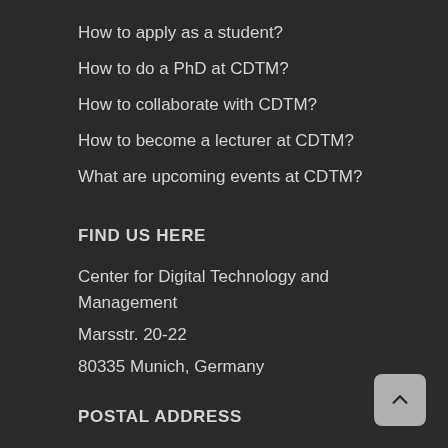How to apply as a student?
How to do a PhD at CDTM?
How to collaborate with CDTM?
How to become a lecturer at CDTM?
What are upcoming events at CDTM?
FIND US HERE
Center for Digital Technology and Management
Marsstr. 20-22
80335 Munich, Germany
POSTAL ADDRESS